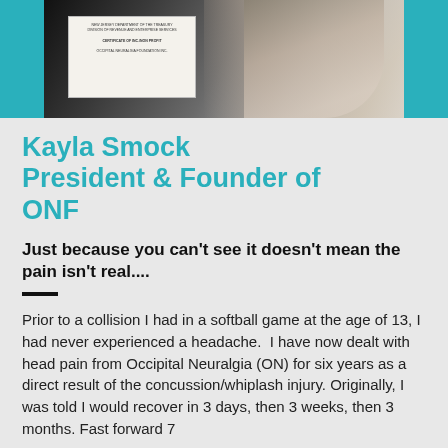[Figure (photo): Photo of Kayla Smock holding a certificate/award document, shown from the shoulders up against a dark background, framed in a teal/cyan bordered photo block. A white certificate card is visible.]
Kayla Smock President & Founder of ONF
Just because you can't see it doesn't mean the pain isn't real....
Prior to a collision I had in a softball game at the age of 13, I had never experienced a headache. I have now dealt with head pain from Occipital Neuralgia (ON) for six years as a direct result of the concussion/whiplash injury. Originally, I was told I would recover in 3 days, then 3 weeks, then 3 months. Fast forward 7